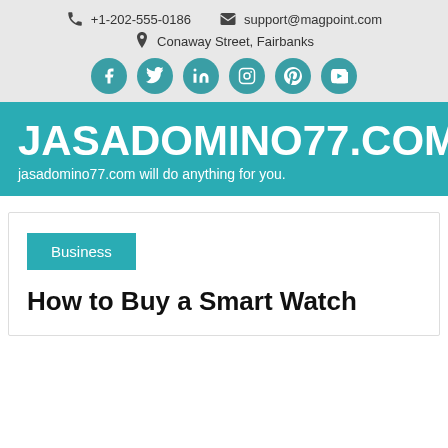+1-202-555-0186  support@magpoint.com  Conaway Street, Fairbanks
[Figure (other): Social media icons row: Facebook, Twitter, LinkedIn, Instagram, Pinterest, YouTube — teal circles]
JASADOMINO77.COM
jasadomino77.com will do anything for you.
Business
How to Buy a Smart Watch